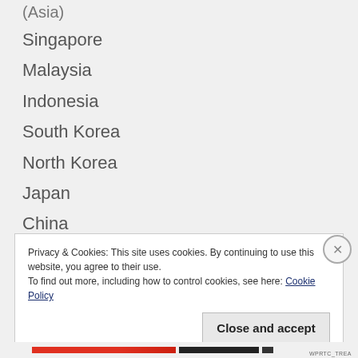(Asia)
Singapore
Malaysia
Indonesia
South Korea
North Korea
Japan
China
Hong Kong
Vietnam
Privacy & Cookies: This site uses cookies. By continuing to use this website, you agree to their use.
To find out more, including how to control cookies, see here: Cookie Policy
Close and accept